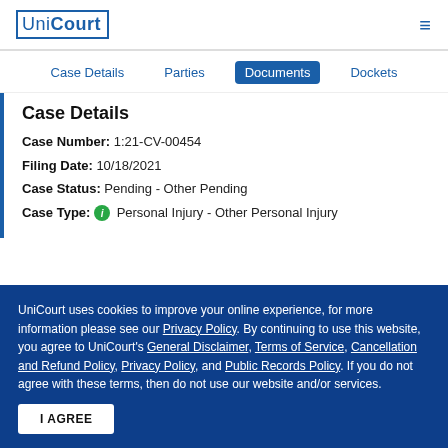UniCourt
Case Details | Parties | Documents | Dockets
Case Details
Case Number: 1:21-CV-00454
Filing Date: 10/18/2021
Case Status: Pending - Other Pending
Case Type: Personal Injury - Other Personal Injury
UniCourt uses cookies to improve your online experience, for more information please see our Privacy Policy. By continuing to use this website, you agree to UniCourt's General Disclaimer, Terms of Service, Cancellation and Refund Policy, Privacy Policy, and Public Records Policy. If you do not agree with these terms, then do not use our website and/or services.
I AGREE